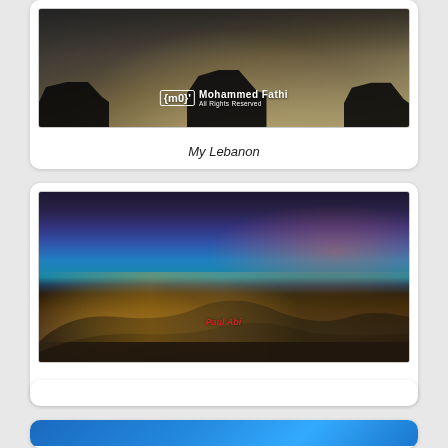[Figure (photo): Black and white/sepia toned photo of dark car silhouettes on a road with light rays, watermark reads Mohammed Fathi All Rights Reserved]
My Lebanon
[Figure (photo): Panoramic twilight/sunset photo of Jounieh city lights and bay from Adma, Lebanon, with purple-blue sky and city glow]
Jounieh From Adma At Sunset, Lebanon
[Figure (photo): Partial card visible, blue sky or water]
[Figure (photo): Partial card at bottom with blue gradient image]